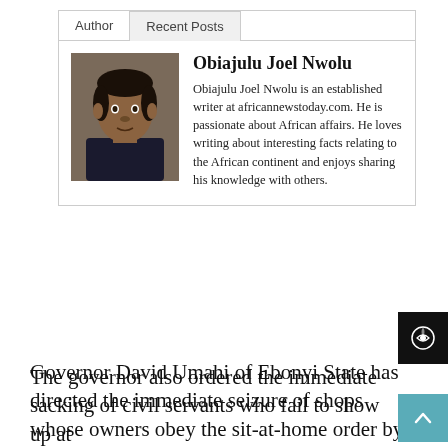[Figure (other): Author bio box with tabs 'Author' and 'Recent Posts', profile photo of Obiajulu Joel Nwolu, name and biography text.]
Obiajulu Joel Nwolu
Obiajulu Joel Nwolu is an established writer at africannewstoday.com. He is passionate about African affairs. He loves writing about interesting facts relating to the African continent and enjoys sharing his knowledge with others.
Governor David Umahi of Ebonyi State has directed the immediate seizure of shops whose owners obey the sit-at-home order by the Indigenous People of Biafra on Monday.
The governor also ordered the immediate sacking of civil servants who fail to show up at